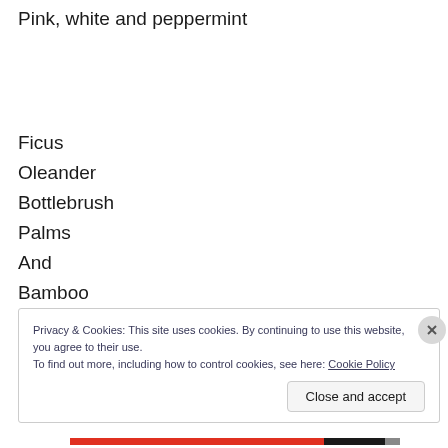Pink, white and peppermint
Ficus
Oleander
Bottlebrush
Palms
And
Bamboo
Privacy & Cookies: This site uses cookies. By continuing to use this website, you agree to their use.
To find out more, including how to control cookies, see here: Cookie Policy
Close and accept